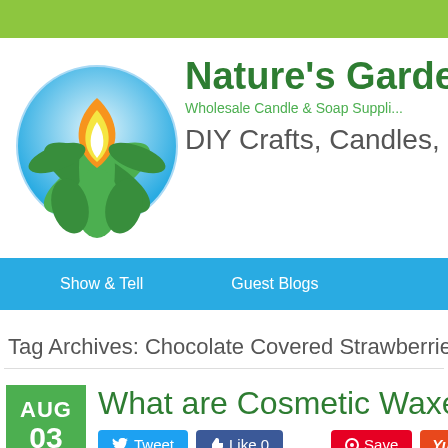[Figure (logo): Nature's Garden logo: green circle with flame and leaves, brand name and tagline]
Nature's Garden
Wholesale Candle & Soap Suppli...
DIY Crafts, Candles, Soap...
Show & Tell   Guest Blogs
Tag Archives: Chocolate Covered Strawberries Lip Ba...
What are Cosmetic Waxe...
AUG 03
Tweet   Like 0   Save   Yum